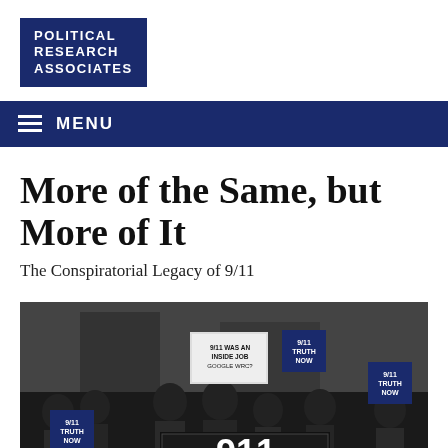[Figure (logo): Political Research Associates logo — white text on dark navy blue background]
MENU
More of the Same, but More of It
The Conspiratorial Legacy of 9/11
[Figure (photo): Black and white photograph of a group of protesters holding signs that read '9/11 TRUTH NOW' and '9/11 WAS AN INSIDE JOB GOOGLE WRC?' with a large '911 TRUTH' banner in the foreground]